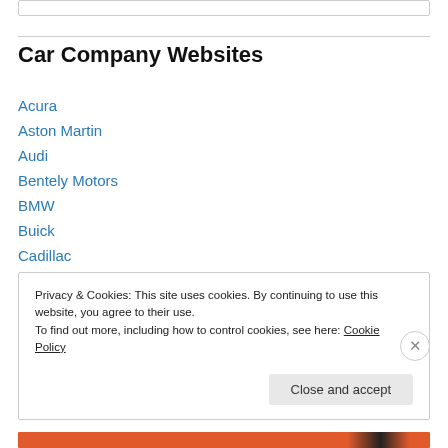Car Company Websites
Acura
Aston Martin
Audi
Bentely Motors
BMW
Buick
Cadillac
Chevrolet
Chrysler
Privacy & Cookies: This site uses cookies. By continuing to use this website, you agree to their use.
To find out more, including how to control cookies, see here: Cookie Policy
Close and accept